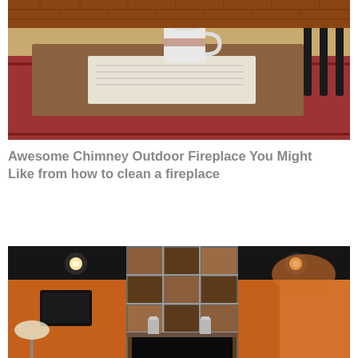[Figure (photo): Interior photo showing a coffee mug on a newspaper/tray on a wooden table, with a red patterned rug and black chair in the background, brick wall visible]
Awesome Chimney Outdoor Fireplace You Might Like from how to clean a fireplace
[Figure (photo): Interior photo of a stone/tile checkered fireplace chimney column in a room with dark ceiling, recessed lighting, orange/terracotta walls, candle holders on a mantel shelf, and a TV mounted to the left]